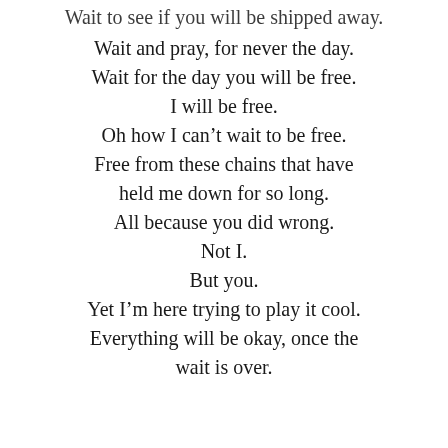Wait to see if you will be shipped away.
Wait and pray, for never the day.
Wait for the day you will be free.
I will be free.
Oh how I can’t wait to be free.
Free from these chains that have
held me down for so long.
All because you did wrong.
Not I.
But you.
Yet I’m here trying to play it cool.
Everything will be okay, once the
wait is over.